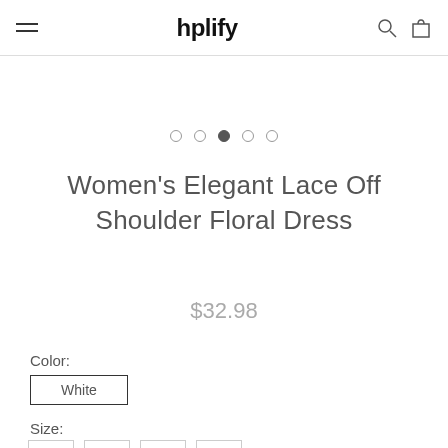hplify
[Figure (other): Image carousel dots: 5 dots with the third one active/filled]
Women's Elegant Lace Off Shoulder Floral Dress
$32.98
Color:
White
Size: